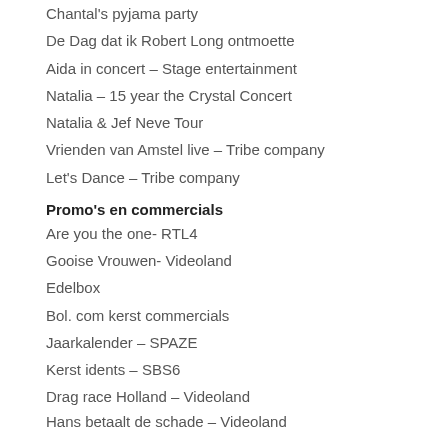Chantal's pyjama party
De Dag dat ik Robert Long ontmoette
Aida in concert – Stage entertainment
Natalia – 15 year the Crystal Concert
Natalia & Jef Neve Tour
Vrienden van Amstel live – Tribe company
Let's Dance – Tribe company
Promo's en commercials
Are you the one- RTL4
Gooise Vrouwen- Videoland
Edelbox
Bol. com kerst commercials
Jaarkalender – SPAZE
Kerst idents – SBS6
Drag race Holland – Videoland
Hans betaalt de schade – Videoland